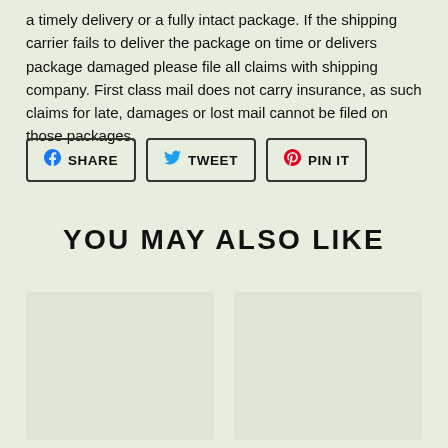a timely delivery or a fully intact package. If the shipping carrier fails to deliver the package on time or delivers package damaged please file all claims with shipping company. First class mail does not carry insurance, as such claims for late, damages or lost mail cannot be filed on those packages.
[Figure (other): Social sharing buttons: SHARE (Facebook), TWEET (Twitter), PIN IT (Pinterest)]
YOU MAY ALSO LIKE
[Figure (other): Product image placeholder (left)]
[Figure (other): Product image placeholder (right)]